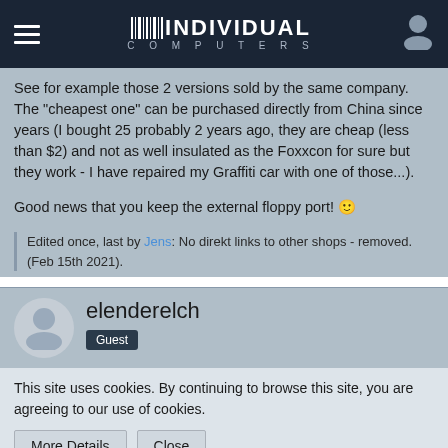INDIVIDUAL COMPUTERS
See for example those 2 versions sold by the same company. The "cheapest one" can be purchased directly from China since years (I bought 25 probably 2 years ago, they are cheap (less than $2) and not as well insulated as the Foxxcon for sure but they work - I have repaired my Graffiti car with one of those...).
Good news that you keep the external floppy port! 🙂
Edited once, last by Jens: No direkt links to other shops - removed. (Feb 15th 2021).
elenderelch
Guest
This site uses cookies. By continuing to browse this site, you are agreeing to our use of cookies.